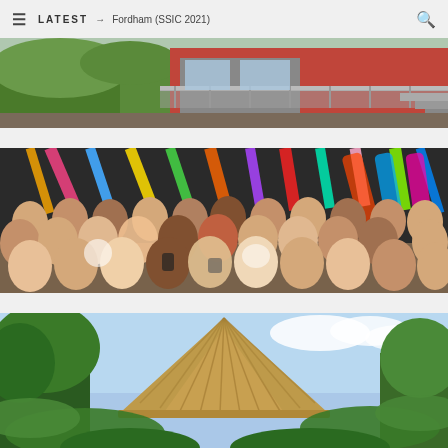≡  LATEST → Fordham (SSIC 2021)  🔍
[Figure (photo): Colorful modern house with deck and railing on a hillside with green vegetation]
[Figure (photo): Large group of people sitting in meditation pose outdoors with colorful surfboards and art installation in background]
[Figure (photo): Traditional thatched roof structure peeking above tropical green tree canopy with blue sky]